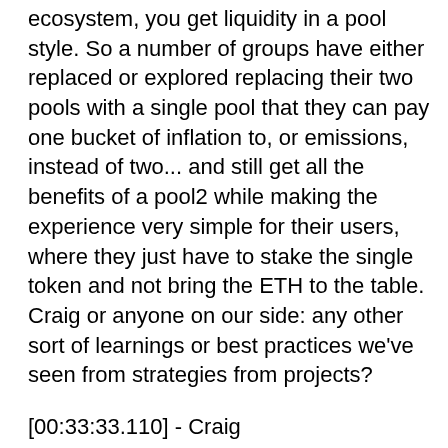ecosystem, you get liquidity in a pool style. So a number of groups have either replaced or explored replacing their two pools with a single pool that they can pay one bucket of inflation to, or emissions, instead of two... and still get all the benefits of a pool2 while making the experience very simple for their users, where they just have to stake the single token and not bring the ETH to the table. Craig or anyone on our side: any other sort of learnings or best practices we've seen from strategies from projects?
[00:33:33.110] - Craig
I think that was a pretty good summary. As Carson mentioned, we do see folks have a preference for one venue versus another venue. And so to the extent that you have relationships or some